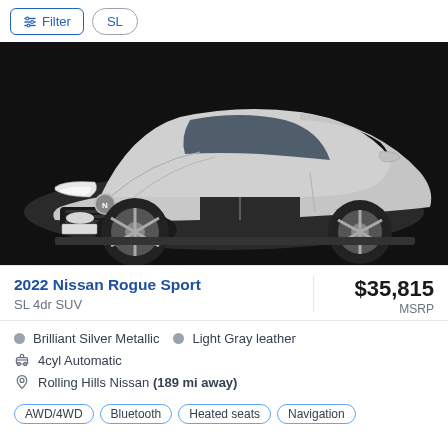Filter  SL
[Figure (photo): 2022 Nissan Rogue Sport silver SUV front three-quarter view on black background with image carousel dots below]
2022 Nissan Rogue Sport
SL 4dr SUV
$35,815
MSRP
Brilliant Silver Metallic   Light Gray leather
4cyl Automatic
Rolling Hills Nissan (189 mi away)
AWD/4WD   Bluetooth   Heated seats   Navigation